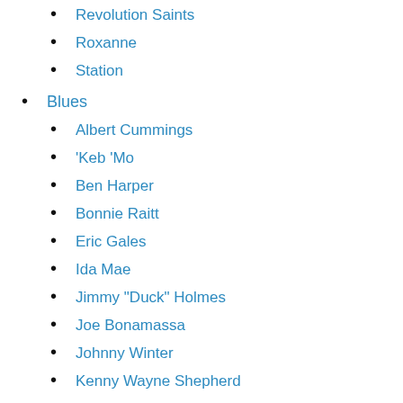Revolution Saints
Roxanne
Station
Blues
Albert Cummings
'Keb 'Mo
Ben Harper
Bonnie Raitt
Eric Gales
Ida Mae
Jimmy "Duck" Holmes
Joe Bonamassa
Johnny Winter
Kenny Wayne Shepherd
North Mississippi All Stars
Rufus Wainwright and the Train
Taj Mahal